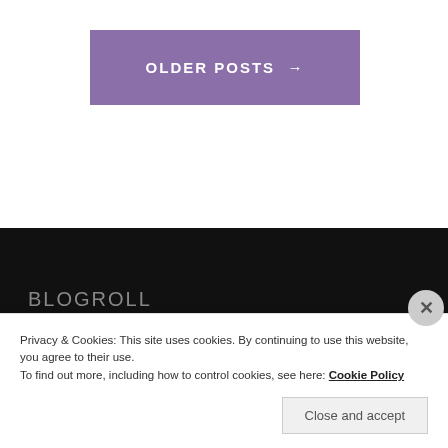OLDER POSTS →
BLOGROLL
Peach State College Sports
The Collegian
Privacy & Cookies: This site uses cookies. By continuing to use this website, you agree to their use.
To find out more, including how to control cookies, see here: Cookie Policy
Close and accept